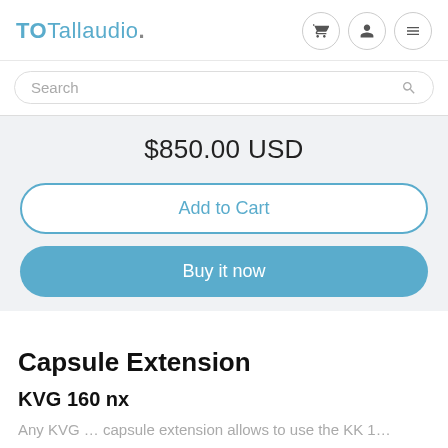TOTallaudio.
Search
$850.00 USD
Add to Cart
Buy it now
Capsule Extension
KVG 160 nx
Any KVG … capsule extension allows to use the KK 1…